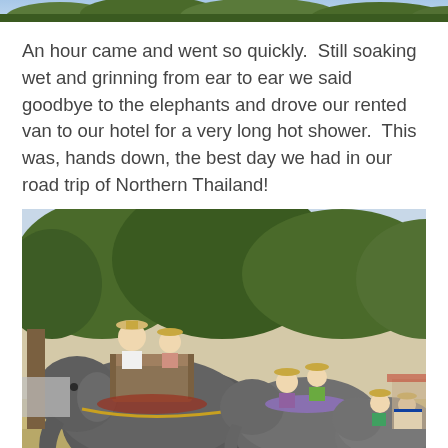[Figure (photo): Top strip of green foliage / trees at the very top of the page]
An hour came and went so quickly.  Still soaking wet and grinning from ear to ear we said goodbye to the elephants and drove our rented van to our hotel for a very long hot shower.  This was, hands down, the best day we had in our road trip of Northern Thailand!
[Figure (photo): A group of tourists riding three elephants in a line outdoors in Northern Thailand. The lead elephant carries two riders in a wooden howdah saddle. Trees and a sunny sky are visible in the background.]